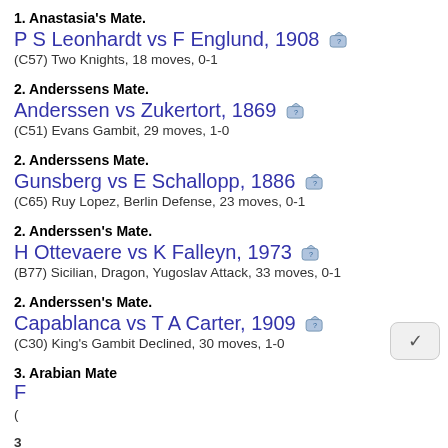1. Anastasia's Mate.
P S Leonhardt vs F Englund, 1908
(C57) Two Knights, 18 moves, 0-1
2. Anderssens Mate.
Anderssen vs Zukertort, 1869
(C51) Evans Gambit, 29 moves, 1-0
2. Anderssens Mate.
Gunsberg vs E Schallopp, 1886
(C65) Ruy Lopez, Berlin Defense, 23 moves, 0-1
2. Anderssen's Mate.
H Ottevaere vs K Falleyn, 1973
(B77) Sicilian, Dragon, Yugoslav Attack, 33 moves, 0-1
2. Anderssen's Mate.
Capablanca vs T A Carter, 1909
(C30) King's Gambit Declined, 30 moves, 1-0
3. Arabian Mate
F
(

3
s
(